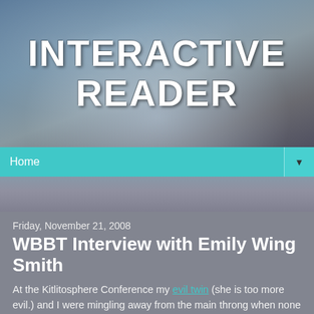[Figure (illustration): Blog header banner with icy/cloudy background and large site title text 'INTERACTIVE READER' in white grunge/dripping font]
Home
Friday, November 21, 2008
WBBT Interview with Emily Wing Smith
At the Kitlitosphere Conference my evil twin (she is too more evil.) and I were mingling away from the main throng when none but Sara Zarr pushes someone aside saying that she wanted to give me a book. I then tried to take the book from her with mild interest saying, "Oh is this your new one?" but Sara Zarr would not let go of this book, despite my tugging. She proceeded to clutch this book close to her chest and say wonderful, passionate things about it with genuine fervor in her eyes. I wasn't sure she would actually let me have the book, and then I worried a little for her sanity that she had